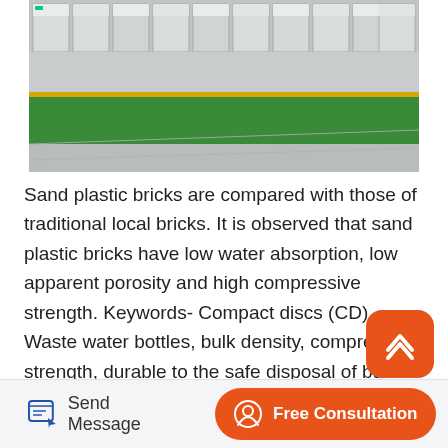[Figure (photo): Factory floor photo showing industrial machines aligned in a row with a green-painted floor and yellow stripe markings]
Sand plastic bricks are compared with those of traditional local bricks. It is observed that sand plastic bricks have low water absorption, low apparent porosity and high compressive strength. Keywords- Compact discs (CD), Waste water bottles, bulk density, compressive strength, durable to the safe disposal of bulk waste, but 1.